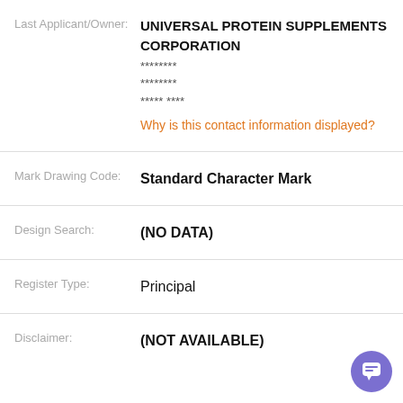Last Applicant/Owner: UNIVERSAL PROTEIN SUPPLEMENTS CORPORATION ******** ******** ***** **** Why is this contact information displayed?
Mark Drawing Code: Standard Character Mark
Design Search: (NO DATA)
Register Type: Principal
Disclaimer: (NOT AVAILABLE)